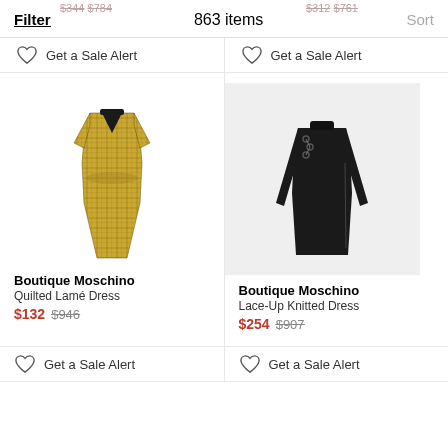Filter   863 items   Sort
$344 $784 (strikethrough prices, top left)
$312 $761 (strikethrough prices, top right)
Get a Sale Alert (left, top)
Get a Sale Alert (right, top)
[Figure (photo): Gold quilted lamé short-sleeve fitted dress by Boutique Moschino on white background]
[Figure (photo): Black long-sleeve lace-up knitted dress by Boutique Moschino on grey background]
Boutique Moschino
Quilted Lamé Dress
$132 $946
Boutique Moschino
Lace-Up Knitted Dress
$254 $907
Get a Sale Alert (left, bottom)
Get a Sale Alert (right, bottom)